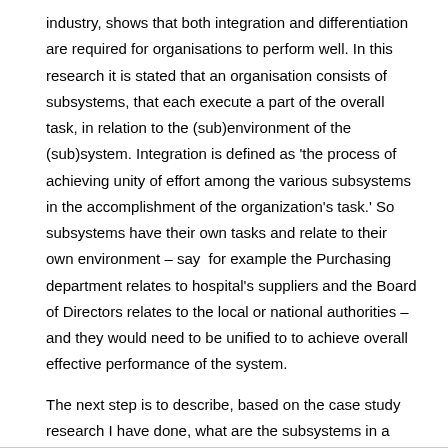industry, shows that both integration and differentiation are required for organisations to perform well. In this research it is stated that an organisation consists of subsystems, that each execute a part of the overall task, in relation to the (sub)environment of the (sub)system. Integration is defined as 'the process of achieving unity of effort among the various subsystems in the accomplishment of the organization's task.' So subsystems have their own tasks and relate to their own environment – say  for example the Purchasing department relates to hospital's suppliers and the Board of Directors relates to the local or national authorities – and they would need to be unified to to achieve overall effective performance of the system.
The next step is to describe, based on the case study research I have done, what are the subsystems in a hospital, how they collaborate, integrate or not and whether this is (seen as) effective.